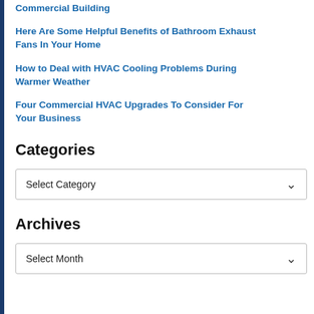Commercial Building
Here Are Some Helpful Benefits of Bathroom Exhaust Fans In Your Home
How to Deal with HVAC Cooling Problems During Warmer Weather
Four Commercial HVAC Upgrades To Consider For Your Business
Categories
Select Category
Archives
Select Month